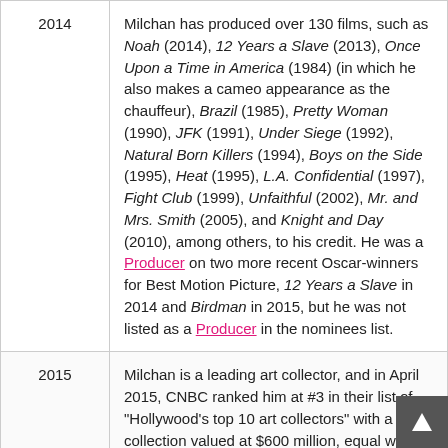| Year | Description |
| --- | --- |
| 2014 | Milchan has produced over 130 films, such as Noah (2014), 12 Years a Slave (2013), Once Upon a Time in America (1984) (in which he also makes a cameo appearance as the chauffeur), Brazil (1985), Pretty Woman (1990), JFK (1991), Under Siege (1992), Natural Born Killers (1994), Boys on the Side (1995), Heat (1995), L.A. Confidential (1997), Fight Club (1999), Unfaithful (2002), Mr. and Mrs. Smith (2005), and Knight and Day (2010), among others, to his credit. He was a Producer on two more recent Oscar-winners for Best Motion Picture, 12 Years a Slave in 2014 and Birdman in 2015, but he was not listed as a Producer in the nominees list. |
| 2015 | Milchan is a leading art collector, and in April 2015, CNBC ranked him at #3 in their list of "Hollywood's top 10 art collectors" with a collection valued at $600 million, equal with George Lucas, ranked #2, but some way behind David Geffen at #1, with a collection valued at $2.3 billion. |